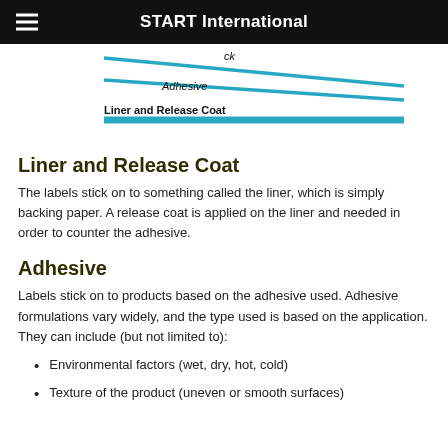START International
[Figure (schematic): Diagram showing layers of a label: back layer at top, Adhesive in middle, Liner and Release Coat at bottom, depicted as converging teal/blue diagonal lines forming a wedge shape.]
Liner and Release Coat
The labels stick on to something called the liner, which is simply backing paper. A release coat is applied on the liner and needed in order to counter the adhesive.
Adhesive
Labels stick on to products based on the adhesive used. Adhesive formulations vary widely, and the type used is based on the application. They can include (but not limited to):
Environmental factors (wet, dry, hot, cold)
Texture of the product (uneven or smooth surfaces)